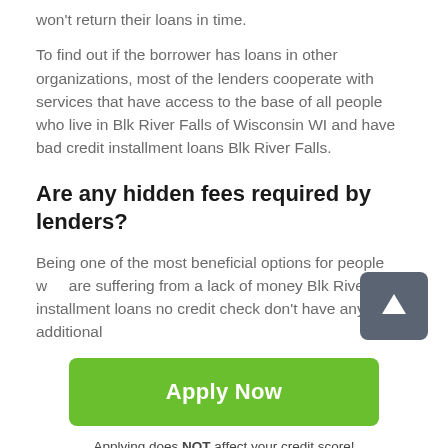won't return their loans in time.
To find out if the borrower has loans in other organizations, most of the lenders cooperate with services that have access to the base of all people who live in Blk River Falls of Wisconsin WI and have bad credit installment loans Blk River Falls.
Are any hidden fees required by lenders?
Being one of the most beneficial options for people who are suffering from a lack of money Blk River Falls installment loans no credit check don't have any additional
[Figure (other): Green 'Apply Now' button]
Applying does NOT affect your credit score!
No credit check to apply.